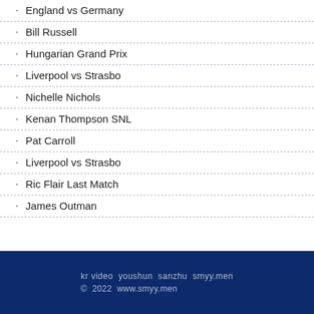England vs Germany
Bill Russell
Hungarian Grand Prix
Liverpool vs Strasbo
Nichelle Nichols
Kenan Thompson SNL
Pat Carroll
Liverpool vs Strasbo
Ric Flair Last Match
James Outman
kr video  youshun  sanzhu  smyy.men
© 2022  www.smyy.men